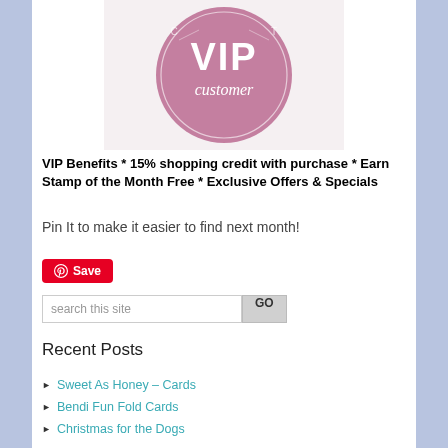[Figure (logo): VIP Customer circular logo badge in mauve/pink color with white text saying 'VIP' in large letters and 'customer' in script below]
VIP Benefits * 15% shopping credit with purchase * Earn Stamp of the Month Free * Exclusive Offers & Specials
Pin It to make it easier to find next month!
[Figure (other): Red Pinterest Save button with Pinterest logo icon]
search this site
Recent Posts
Sweet As Honey – Cards
Bendi Fun Fold Cards
Christmas for the Dogs